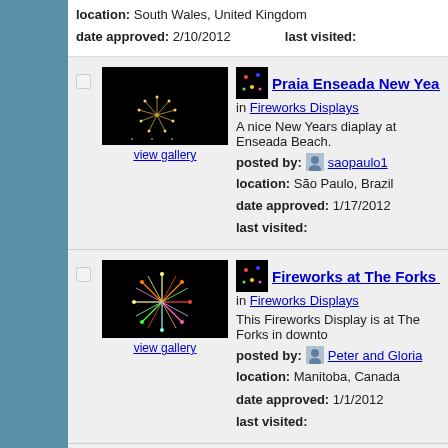location: South Wales, United Kingdom
date approved: 2/10/2012   last visited:
[Figure (photo): Fireworks photo - Praia Enseada, dark background with golden fireworks burst]
view gallery
Praia Enseada New Years Display -
in Fireworks Displays
A nice New Years diaplay at Enseada Beach.
posted by: saopaulo1
location: São Paulo, Brazil
date approved: 1/17/2012   last visited:
[Figure (photo): Fireworks photo - The Forks Winnipeg, colorful fireworks burst]
view gallery
Fireworks at The Forks - Winnipeg
in Fireworks Displays
This Fireworks Display is at The Forks in downto
posted by: Peter and Gloria
location: Manitoba, Canada
date approved: 1/1/2012   last visited:
[Figure (photo): Fireworks photo - Niagara Falls, colorful fireworks]
view gallery
Fireworks at the Falls - Niagara Fa
in Fireworks Displays
Fireworks every Friday and Sunday night June 3